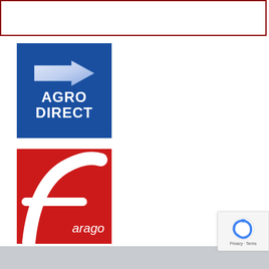[Figure (logo): Agro Direct logo: blue square background with white arrow pointing right and white bold text AGRO DIRECT]
[Figure (logo): Farago logo: red square background with white stylized 'f' letterform and white italic text 'arago']
[Figure (logo): Boviclic logo: green square background with white gear icons and white bold text BOVICLIC]